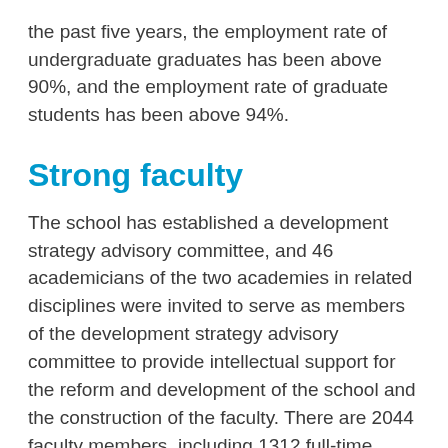the past five years, the employment rate of undergraduate graduates has been above 90%, and the employment rate of graduate students has been above 94%.
Strong faculty
The school has established a development strategy advisory committee, and 46 academicians of the two academies in related disciplines were invited to serve as members of the development strategy advisory committee to provide intellectual support for the reform and development of the school and the construction of the faculty. There are 2044 faculty members, including 1312 full-time teachers, including 363 professors and 573 associate professors. There